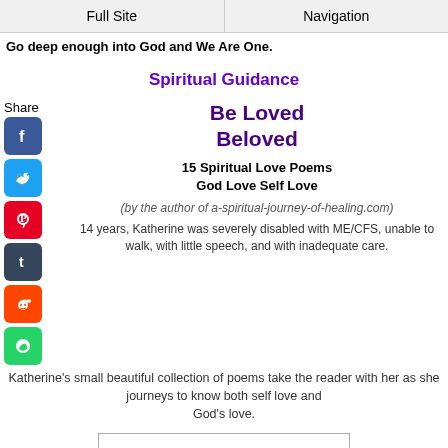Full Site | Navigation
Go deep enough into God and We Are One.
Spiritual Guidance
Share
Be Loved Beloved
15 Spiritual Love Poems God Love Self Love
(by the author of a-spiritual-journey-of-healing.com)
14 years, Katherine was severely disabled with ME/CFS, unable to walk, with little speech, and with inadequate care.
Katherine's small beautiful collection of poems take the reader with her as she journeys to know both self love and God's love.
[Figure (illustration): Book cover for 'Be Loved Beloved' showing title in purple bold text]